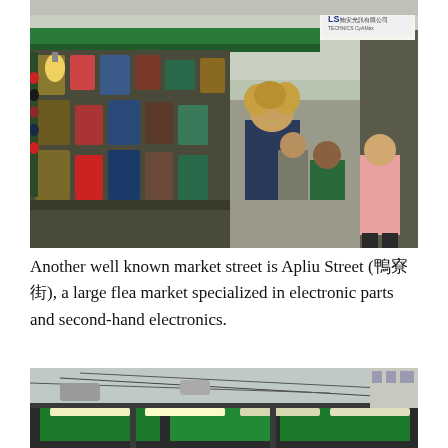[Figure (photo): Busy outdoor market street scene with people walking past stalls selling electronics and various goods. A man with curly hair in a dark shirt walks in the foreground. Market stalls with products line the left side. Signs with Chinese and English text visible in background.]
Another well known market street is Apliu Street (鴨寮街), a large flea market specialized in electronic parts and second-hand electronics.
[Figure (photo): View of market street canopy/awning structure with green fluorescent lighting fixtures visible overhead, with urban buildings and wires in background.]